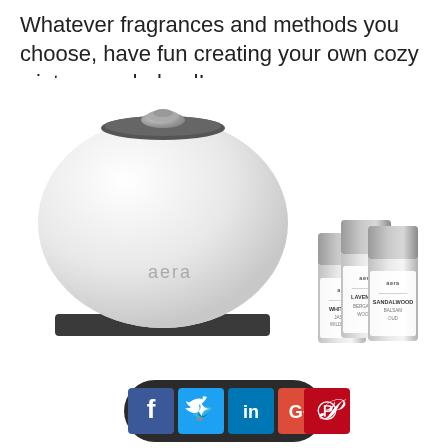Whatever fragrances and methods you choose, have fun creating your own cozy winter wonderland!
[Figure (photo): Aera smart home fragrance diffuser (white, rounded bowl shape with silver top knob) displayed alongside three small cylindrical fragrance capsules labeled White Tea, Lavender, and Sandalwood]
[Figure (infographic): Social media sharing buttons bar: Facebook (blue), Twitter (light blue), LinkedIn (blue), Google+ (red), Pinterest (red)]